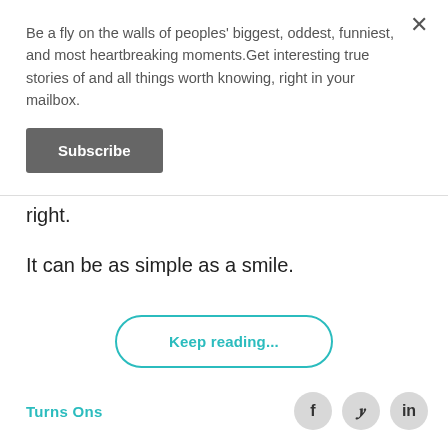Be a fly on the walls of peoples' biggest, oddest, funniest, and most heartbreaking moments.Get interesting true stories of and all things worth knowing, right in your mailbox.
Subscribe
right.
It can be as simple as a smile.
Keep reading...
Turns Ons